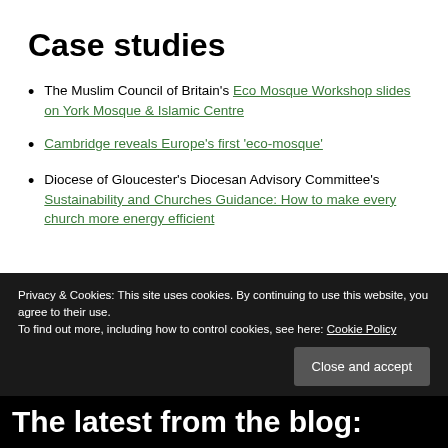Case studies
The Muslim Council of Britain's Eco Mosque Workshop slides on York Mosque & Islamic Centre
Cambridge reveals Europe's first 'eco-mosque'
Diocese of Gloucester's Diocesan Advisory Committee's Sustainability and Churches Guidance: How to make every church more energy efficient
Privacy & Cookies: This site uses cookies. By continuing to use this website, you agree to their use. To find out more, including how to control cookies, see here: Cookie Policy
Close and accept
The latest from the blog: